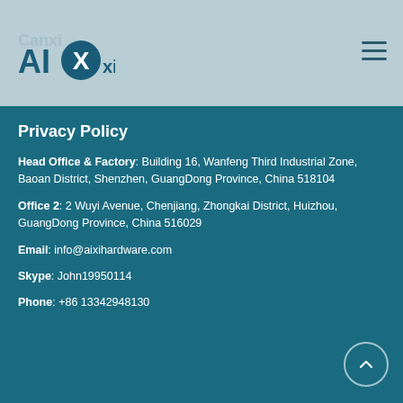AIXI — logo and navigation header
Privacy Policy
Head Office & Factory: Building 16, Wanfeng Third Industrial Zone, Baoan District, Shenzhen, GuangDong Province, China 518104
Office 2: 2 Wuyi Avenue, Chenjiang, Zhongkai District, Huizhou, GuangDong Province, China 516029
Email: info@aixihardware.com
Skype: John19950114
Phone: +86 13342948130